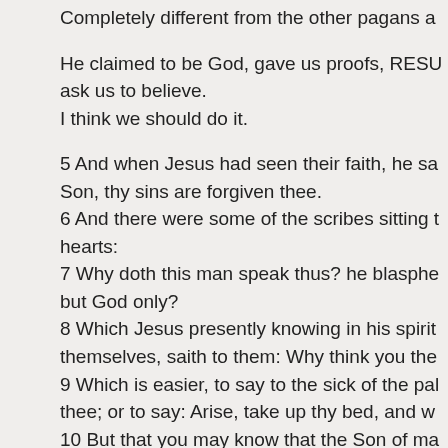Completely different from the other pagans a
He claimed to be God, gave us proofs, RESU ask us to believe.
I think we should do it.
5 And when Jesus had seen their faith, he sa Son, thy sins are forgiven thee.
6 And there were some of the scribes sitting hearts:
7 Why doth this man speak thus? he blasphe but God only?
8 Which Jesus presently knowing in his spirit themselves, saith to them: Why think you the
9 Which is easier, to say to the sick of the pal thee; or to say: Arise, take up thy bed, and w
10 But that you may know that the Son of ma forgive sins, (he saith to the sick of the palsy,
11 I say to thee: Arise, take up thy bed, and g
12 And immediately he arose; and taking up b sight of all; so that all wondered and glorified the like.